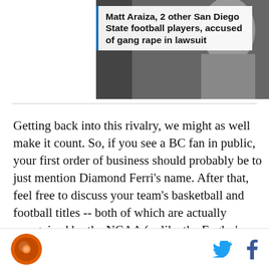[Figure (photo): News article thumbnail showing a person, partially visible, with a white overlay box containing a bold headline about Matt Araiza and other San Diego State football players]
Matt Araiza, 2 other San Diego State football players, accused of gang rape in lawsuit
Getting back into this rivalry, we might as well make it count. So, if you see a BC fan in public, your first order of business should probably be to just mention Diamond Ferri's name. After that, feel free to discuss your team's basketball and football titles -- both of which are actually recognized by the NCAA (unlike the Eagles' 1940 "championship"). Sure, they'll probably say something snarky about hockey titles, but you've got 11 lacrosse championships to fall back on. Once they remember their team still plays at the club level
[Figure (logo): Sports news website logo: orange circle with stylized design]
[Figure (other): Twitter and Facebook social media icons]